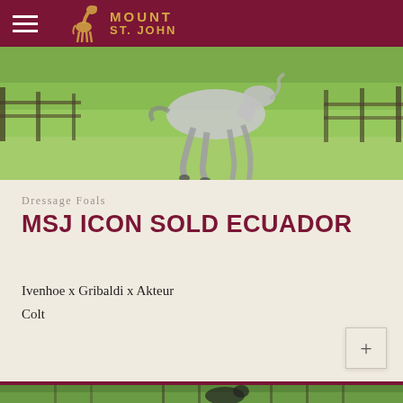Mount St. John
[Figure (photo): Horse running in a green field, legs visible galloping across grass, wooden fence visible in background]
Dressage Foals
MSJ ICON SOLD Ecuador
Ivenhoe x Gribaldi x Akteur
Colt
[Figure (photo): Dark horse (foal/young horse) standing near wooden fence with green trees in background]